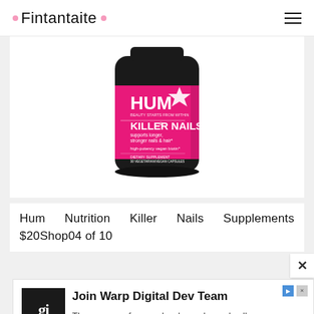Fintantaite
[Figure (photo): HUM Nutrition Killer Nails supplement bottle with pink label showing 'KILLER NAILS supports longer, stronger nails & hair, high-potency vegan biotin, dietary supplement, 30 vegetarian/vegan capsules']
Hum Nutrition Killer Nails Supplements $20Shop04 of 10
[Figure (screenshot): Advertisement banner for GamesIndustry.biz with GI logo reading 'Join Warp Digital Dev Team - The resource for people who make and sell g...' with Open button]